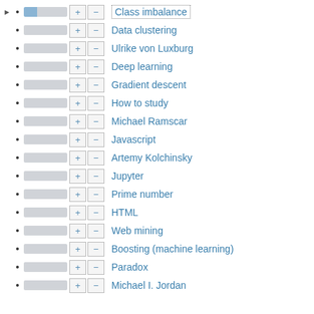Class imbalance
Data clustering
Ulrike von Luxburg
Deep learning
Gradient descent
How to study
Michael Ramscar
Javascript
Artemy Kolchinsky
Jupyter
Prime number
HTML
Web mining
Boosting (machine learning)
Paradox
Michael I. Jordan